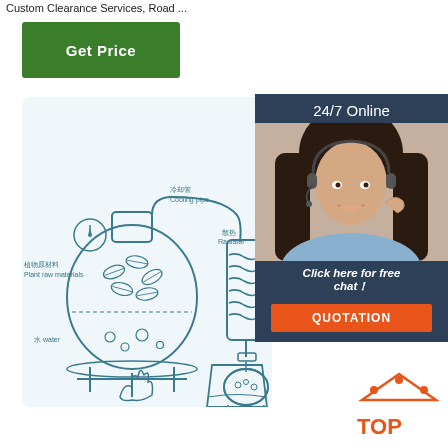Custom Clearance Services, Road ...
[Figure (other): Green 'Get Price' button]
[Figure (illustration): 24/7 Online customer service sidebar with photo of woman with headset, 'Click here for free chat!' text, and orange QUOTATION button]
[Figure (engineering-diagram): Distillation/extraction apparatus diagram with Chinese and English labels: Plant raw materials (植物原材料), water (水 water), fire (火 fire), Cooling pipe (冷却管), Radiator (散热), Hydrosol (纯露 Hydrosol)]
[Figure (logo): Orange TOP icon with house/arrow symbol at bottom right]